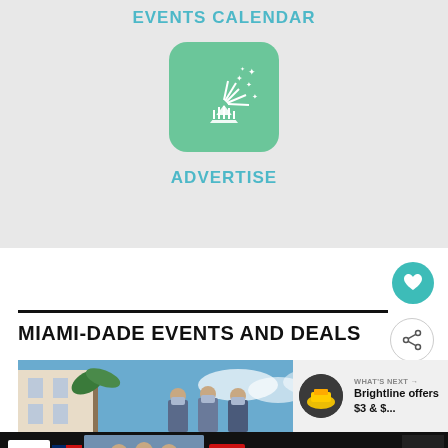EVENTS CALENDAR
[Figure (illustration): Green rounded square icon with white party hat and fireworks/stars illustration]
ADVERTISE
[Figure (screenshot): Heart (favorite) button - teal circular button with white heart icon]
[Figure (screenshot): Share button - circular button with share icon]
MIAMI-DADE EVENTS AND DEALS
[Figure (photo): Street scene photo showing building with palm tree and people wearing masks holding boxes]
WHAT'S NEXT → Brightline offers $3 & $...
[Figure (screenshot): Operation Gratitude advertisement banner with Thank You text and masked healthcare workers]